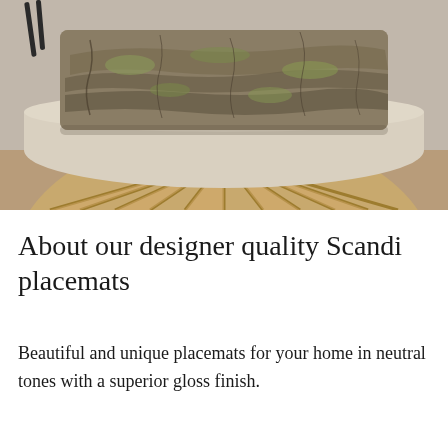[Figure (photo): Close-up photograph of a rectangular placemat with a nature-inspired bark and moss texture design, placed on a circular wooden slatted surface with a light fabric or cushion behind it.]
About our designer quality Scandi placemats
Beautiful and unique placemats for your home in neutral tones with a superior gloss finish.